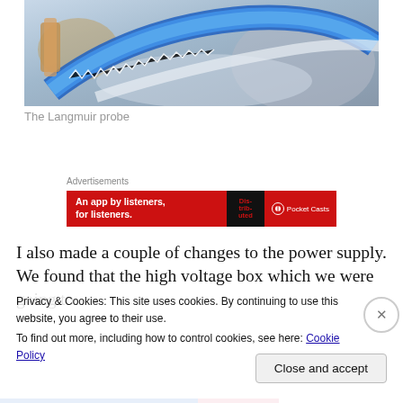[Figure (photo): Close-up photo of a Langmuir probe, showing blue 3D-printed ring/frame component with zigzag stitching pattern on white/clear tubing, with metallic elements visible in the background]
The Langmuir probe
[Figure (screenshot): Advertisement banner: 'An app by listeners, for listeners.' with Pocket Casts logo and a book graphic on red background]
I also made a couple of changes to the power supply. We found that the high voltage box which we were going to
Privacy & Cookies: This site uses cookies. By continuing to use this website, you agree to their use.
To find out more, including how to control cookies, see here: Cookie Policy